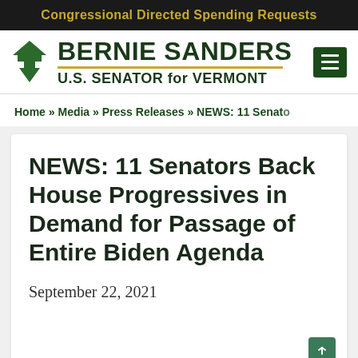Congressional Directed Spending Requests
[Figure (logo): Bernie Sanders U.S. Senator for Vermont official website logo with Vermont state silhouette in green and gold underline]
Home » Media » Press Releases » NEWS: 11 Senato
NEWS: 11 Senators Back House Progressives in Demand for Passage of Entire Biden Agenda
September 22, 2021